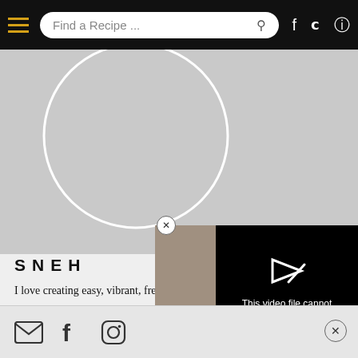Find a Recipe ...
[Figure (screenshot): Gray background area with circular profile image placeholder (white circle outline on gray)]
SNEH
I love creating easy, vibrant, fresh, everyday recipes and taking gorgeous photos of the food I cook. I have been blogging for 15 years... 100 new recipes. If y... Tag @cookrepublic...
[Figure (screenshot): Video player showing error message: This video file cannot be played. (Error Code: 224003)]
Social media icons: email, Facebook, Instagram